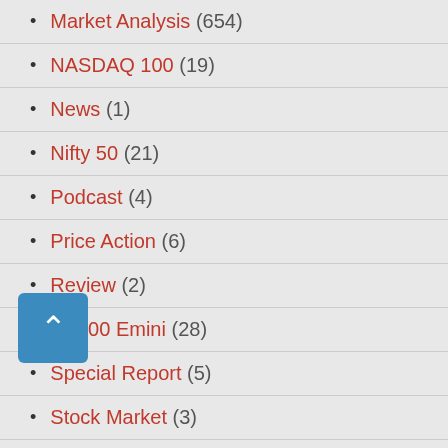Market Analysis (654)
NASDAQ 100 (19)
News (1)
Nifty 50 (21)
Podcast (4)
Price Action (6)
Review (2)
SP500 Emini (28)
Special Report (5)
Stock Market (3)
Trading Platforms (2)
Trading Strategies (8)
Video (19)
Webinars & Lectures (22)